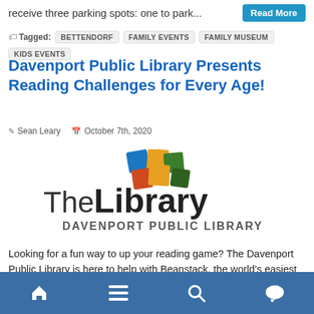receive three parking spots: one to park… Read More
Tagged: BETTENDORF  FAMILY EVENTS  FAMILY MUSEUM  KIDS EVENTS
Davenport Public Library Presents Reading Challenges for Every Age!
Sean Leary   October 7th, 2020
[Figure (logo): The Library Davenport Public Library logo with colorful mosaic squares above stylized text]
Looking for a fun way to up your reading game? The Davenport Public Library is here to help with Beanstack, the world's easiest way to keep track of all the books you read, and participate in the Library's
Home  Menu  Search  Chat